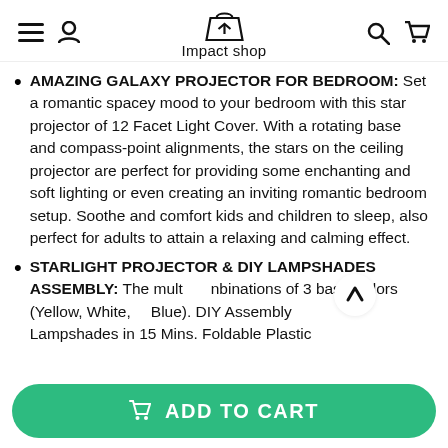Impact shop
AMAZING GALAXY PROJECTOR FOR BEDROOM: Set a romantic spacey mood to your bedroom with this star projector of 12 Facet Light Cover. With a rotating base and compass-point alignments, the stars on the ceiling projector are perfect for providing some enchanting and soft lighting or even creating an inviting romantic bedroom setup. Soothe and comfort kids and children to sleep, also perfect for adults to attain a relaxing and calming effect.
STARLIGHT PROJECTOR & DIY LAMPSHADES ASSEMBLY: The multi combinations of 3 basic colors (Yellow, White, Blue). DIY Assembly Lampshades in 15 Mins. Foldable Plastic